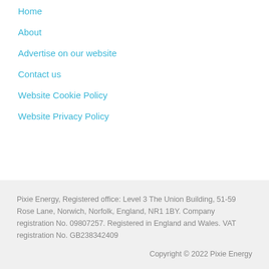Home
About
Advertise on our website
Contact us
Website Cookie Policy
Website Privacy Policy
Pixie Energy, Registered office: Level 3 The Union Building, 51-59 Rose Lane, Norwich, Norfolk, England, NR1 1BY. Company registration No. 09807257. Registered in England and Wales. VAT registration No. GB238342409
Copyright © 2022 Pixie Energy